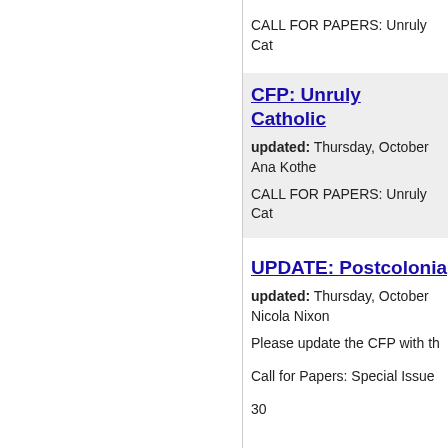CALL FOR PAPERS: Unruly Cat
CFP: Unruly Catholic
updated: Thursday, October
Ana Kothe
CALL FOR PAPERS: Unruly Cat
UPDATE: Postcolonia
updated: Thursday, October
Nicola Nixon
Please update the CFP with th
Call for Papers: Special Issue
30